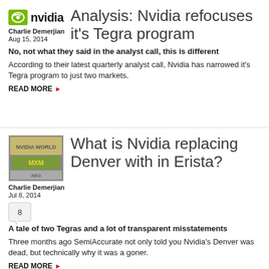[Figure (logo): Nvidia green logo icon with nvidia text]
Charlie Demerjian
Aug 15, 2014
Analysis: Nvidia refocuses it's Tegra program
No, not what they said in the analyst call, this is different
According to their latest quarterly analyst call, Nvidia has narrowed it's Tegra program to just two markets.
READ MORE ▶
[Figure (photo): Nvidia World sign/billboard photo]
Charlie Demerjian
Jul 8, 2014
8
What is Nvidia replacing Denver with in Erista?
A tale of two Tegras and a lot of transparent misstatements
Three months ago SemiAccurate not only told you Nvidia's Denver was dead, but technically why it was a goner.
READ MORE ▶